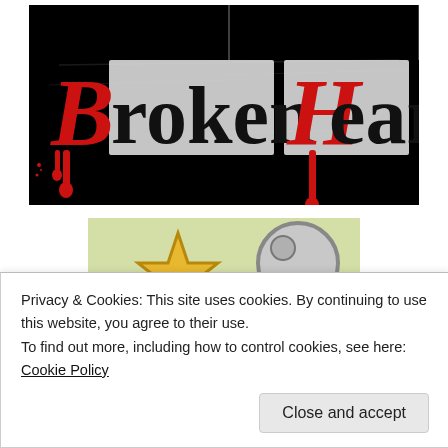[Figure (illustration): Black background banner image with stylized grunge text reading 'Broken Heart'. The 'B' and 'H' letters are in red, the rest of the text is in white distressed font. Red drip effects hang from the letters.]
[Figure (illustration): Partial cartoon illustration on a light green/yellow background showing cartoon star and circular shapes with yellow and grey coloring.]
Privacy & Cookies: This site uses cookies. By continuing to use this website, you agree to their use.
To find out more, including how to control cookies, see here: Cookie Policy
Close and accept